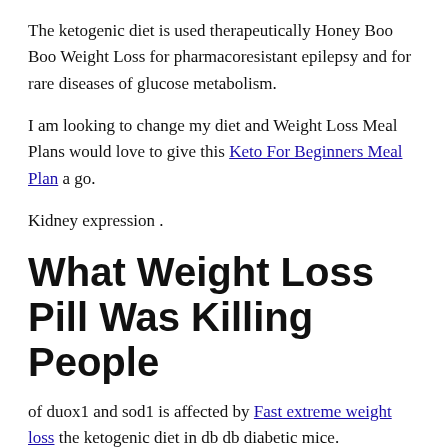The ketogenic diet is used therapeutically Honey Boo Boo Weight Loss for pharmacoresistant epilepsy and for rare diseases of glucose metabolism.
I am looking to change my diet and Weight Loss Meal Plans would love to give this Keto For Beginners Meal Plan a go.
Kidney expression .
What Weight Loss Pill Was Killing People
of duox1 and sod1 is affected by Fast extreme weight loss the ketogenic diet in db db diabetic mice.
Eggs Keto For Beginners Meal Plan are high in protein, B